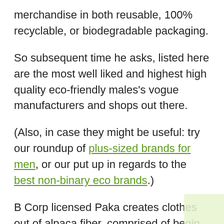merchandise in both reusable, 100% recyclable, or biodegradable packaging.
So subsequent time he asks, listed here are the most well liked and highest high quality eco-friendly males's vogue manufacturers and shops out there.
(Also, in case they might be useful: try our roundup of plus-sized brands for men, or our put up in regards to the best non-binary eco brands.)
B Corp licensed Paka creates clothes out of alpaca fiber, comprised of begin to end in Peru. Each product incorporates Paka's signature handwoven Inca ID sourced immediately from its crew of Quechua ladies weavers primarily based within the Sacred Valley. Paka's Peruvian alpaca fibers come from herds of 30-60 alpacas that roam